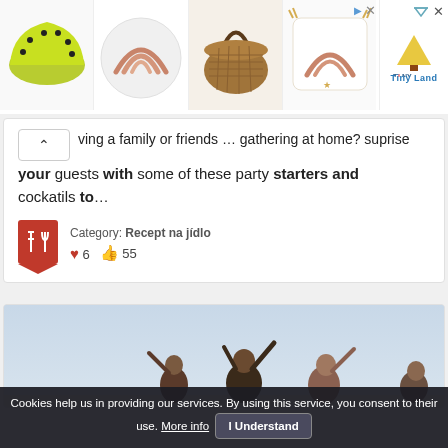[Figure (screenshot): Ad banner with four product images (green helmet, rainbow plate, wicker basket, rainbow pillow) and Tiny Land logo with close/ad controls]
ving a family or friends … gathering at home? suprise your guests with some of these party starters and cockatils to...
Category: Recept na jídlo
♥ 6  👍 55
[Figure (photo): People raising their hands outdoors against a light blue sky]
Cookies help us in providing our services. By using this service, you consent to their use. More info  I Understand